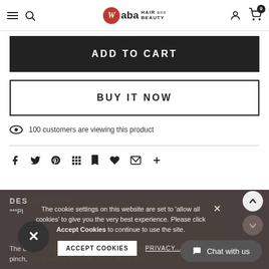Waba Hair and Beauty — navigation bar with menu, search, logo, user, and cart icons
ADD TO CART
BUY IT NOW
100 customers are viewing this product
[Figure (infographic): Row of social sharing icons: Facebook, Twitter, Pinterest, grid/apps, bookmark, heart/like, email, plus]
DESCRIPTION
***Please Allow 2-3 Days to process and ship the item
The Lumi by Ha... h Quality, Human, Remy Hair. Add thickness and volume in a pinch, with the easy to install, extra sturdy clips
The cookie settings on this website are set to 'allow all cookies' to give you the very best experience. Please click Accept Cookies to continue to use the site.
ACCEPT COOKIES
PRIVACY...
Chat with us